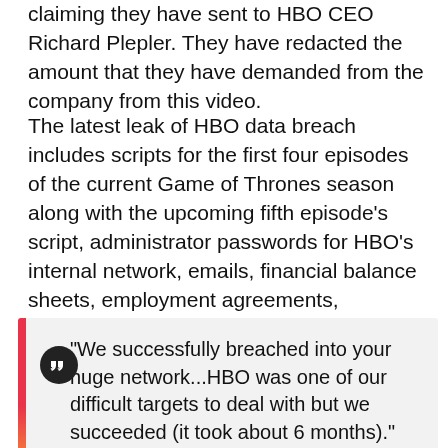claiming they have sent to HBO CEO Richard Plepler. They have redacted the amount that they have demanded from the company from this video.
The latest leak of HBO data breach includes scripts for the first four episodes of the current Game of Thrones season along with the upcoming fifth episode's script, administrator passwords for HBO's internal network, emails, financial balance sheets, employment agreements, countless other HBO internal documents, and archive of emails of one of the company's top executives.
"We successfully breached into your huge network...HBO was one of our difficult targets to deal with but we succeeded (it took about 6 months)."